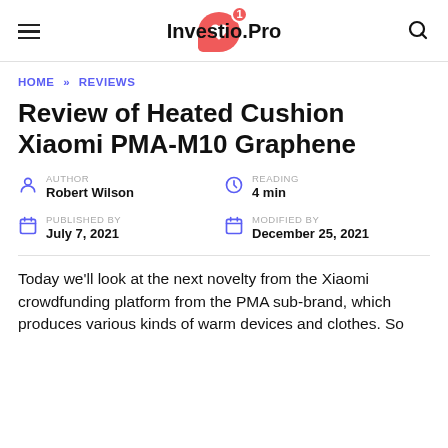Investio.Pro
HOME » REVIEWS
Review of Heated Cushion Xiaomi PMA-M10 Graphene
AUTHOR Robert Wilson
READING 4 min
PUBLISHED BY July 7, 2021
MODIFIED BY December 25, 2021
Today we'll look at the next novelty from the Xiaomi crowdfunding platform from the PMA sub-brand, which produces various kinds of warm devices and clothes. So